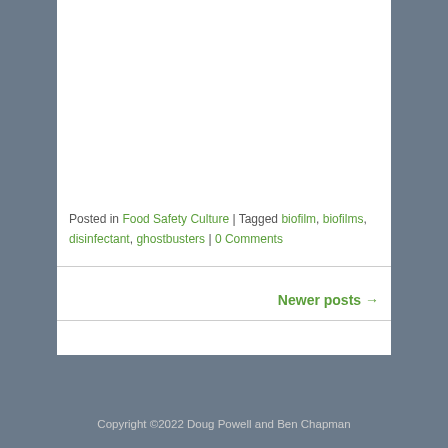[Figure (other): White image/content placeholder area at top of blog post]
Posted in Food Safety Culture | Tagged biofilm, biofilms, disinfectant, ghostbusters | 0 Comments
Newer posts →
Copyright ©2022 Doug Powell and Ben Chapman